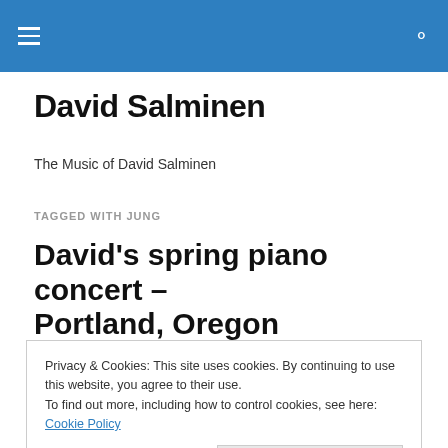David Salminen [navigation bar with hamburger menu and search icon]
David Salminen
The Music of David Salminen
TAGGED WITH JUNG
David's spring piano concert – Portland, Oregon
Privacy & Cookies: This site uses cookies. By continuing to use this website, you agree to their use. To find out more, including how to control cookies, see here: Cookie Policy
Close and accept
131 NW 13th Ave (parking across the street) – Portland